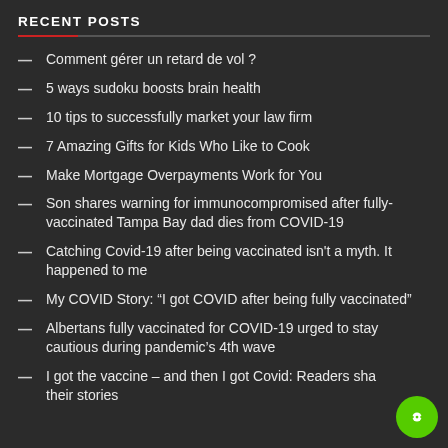RECENT POSTS
Comment gérer un retard de vol ?
5 ways sudoku boosts brain health
10 tips to successfully market your law firm
7 Amazing Gifts for Kids Who Like to Cook
Make Mortgage Overpayments Work for You
Son shares warning for immunocompromised after fully-vaccinated Tampa Bay dad dies from COVID-19
Catching Covid-19 after being vaccinated isn't a myth. It happened to me
My COVID Story: “I got COVID after being fully vaccinated”
Albertans fully vaccinated for COVID-19 urged to stay cautious during pandemic’s 4th wave
I got the vaccine – and then I got Covid: Readers share their stories